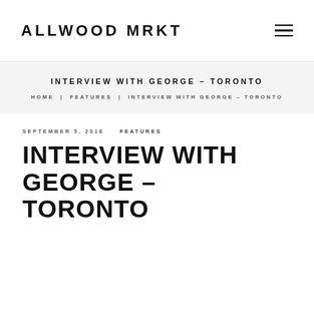ALLWOOD MRKT
INTERVIEW WITH GEORGE – TORONTO
HOME | FEATURES | INTERVIEW WITH GEORGE – TORONTO
SEPTEMBER 5, 2018    FEATURES
INTERVIEW WITH GEORGE – TORONTO